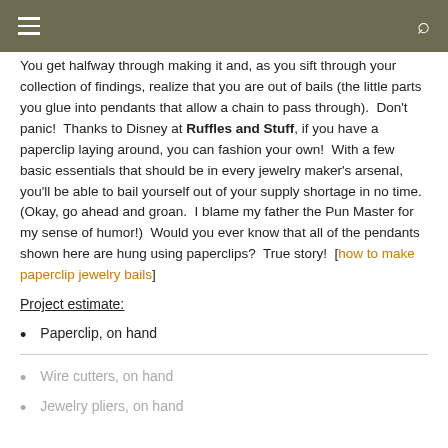≡  [navigation bar with hamburger menu and search icon]
You get halfway through making it and, as you sift through your collection of findings, realize that you are out of bails (the little parts you glue into pendants that allow a chain to pass through).  Don't panic!  Thanks to Disney at Ruffles and Stuff, if you have a paperclip laying around, you can fashion your own!  With a few basic essentials that should be in every jewelry maker's arsenal, you'll be able to bail yourself out of your supply shortage in no time.  (Okay, go ahead and groan.  I blame my father the Pun Master for my sense of humor!)  Would you ever know that all of the pendants shown here are hung using paperclips?  True story!  [how to make paperclip jewelry bails]
Project estimate:
Paperclip, on hand
Wire cutters, on hand
Jewelry pliers, on hand